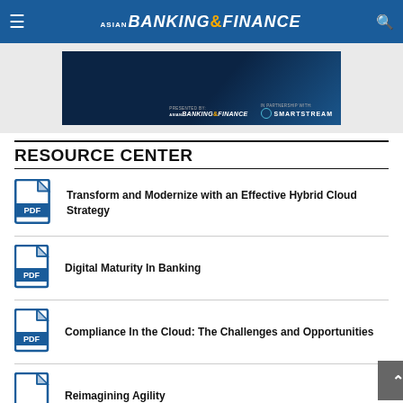ASIAN BANKING & FINANCE
[Figure (screenshot): Dark blue banner advertisement presented by Asian Banking & Finance in partnership with SmartStream]
RESOURCE CENTER
Transform and Modernize with an Effective Hybrid Cloud Strategy
Digital Maturity In Banking
Compliance In the Cloud: The Challenges and Opportunities
Reimagining Agility